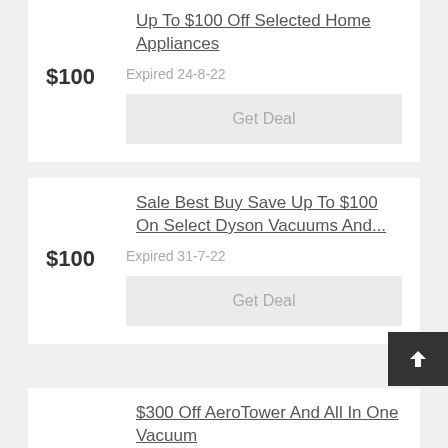Up To $100 Off Selected Home Appliances
$100   Expired 24-8-22
Get Deal
Sale Best Buy Save Up To $100 On Select Dyson Vacuums And...
$100   Expired 31-7-22
Get Deal
$300 Off AeroTower And All In One Vacuum
$300   Expired 1-6-22